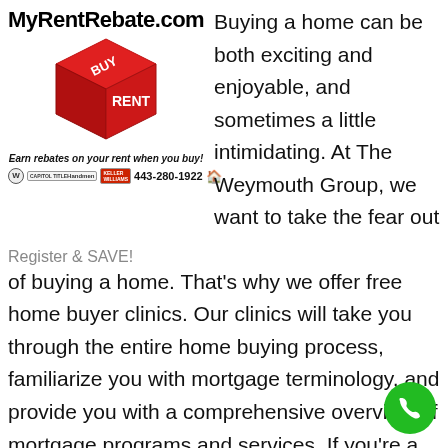MyRentRebate.com
[Figure (illustration): Red 3D cube with 'BUY' on top face and 'RENT' on front face]
Earn rebates on your rent when you buy!
443-280-1922
Register & SAVE!
Buying a home can be both exciting and enjoyable, and sometimes a little intimidating. At The Weymouth Group, we want to take the fear out of buying a home. That's why we offer free home buyer clinics. Our clinics will take you through the entire home buying process, familiarize you with mortgage terminology, and provide you with a comprehensive overview of mortgage programs and services. If you're a first time